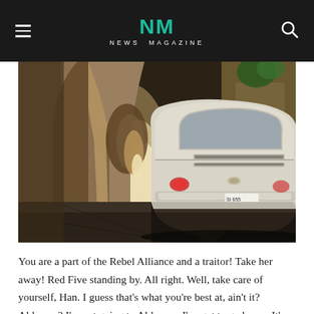NM NEWS MAGAZINE
[Figure (photo): Vintage white Fiat 500 parked in a narrow Italian alley with stone arch tunnels receding into the background, stone walls with graffiti on the right side.]
You are a part of the Rebel Alliance and a traitor! Take her away! Red Five standing by. All right. Well, take care of yourself, Han. I guess that's what you're best at, ain't it? Alderaan? I'm not going to Alderaan. I've got to go home. It's late, I'm in for it as it is.